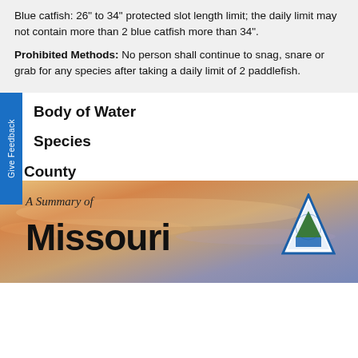Blue catfish: 26" to 34" protected slot length limit; the daily limit may not contain more than 2 blue catfish more than 34".
Prohibited Methods: No person shall continue to snag, snare or grab for any species after taking a daily limit of 2 paddlefish.
Body of Water
Species
County
[Figure (illustration): Bottom banner image showing a sunset/dusk sky with warm orange and purple tones. Text reads 'A Summary of Missouri' with a triangular conservation agency logo on the right.]